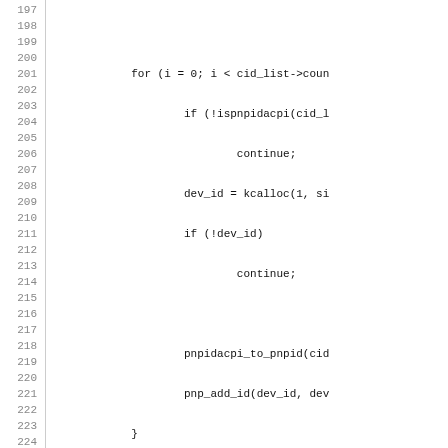[Figure (screenshot): Source code listing lines 197–226 of a Linux kernel C file showing pnpacpi device enumeration code including for loop, kcalloc, pnpidacpi_to_pnpid, pnp_add_id, flag clearing, pnp_add_device, error handling with kfree and return -EINVAL, and start of pnpacpi_add_device_handler function.]